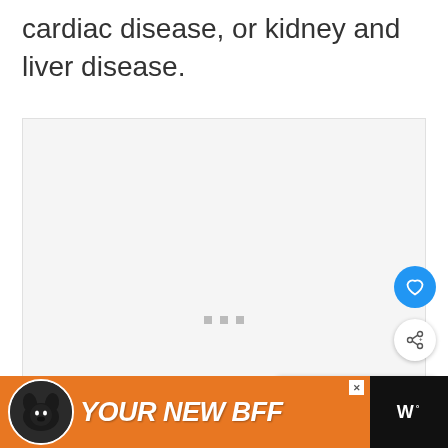cardiac disease, or kidney and liver disease.
[Figure (other): Embedded video player area with loading dots, heart/favorite button (blue circle), share button (white circle with shadow), and a 'What's Next' card showing a German Shepherd dog with text 'When To Euthanize A...']
[Figure (other): Advertisement banner: orange background with black dog illustration and bold italic white text 'YOUR NEW BFF', close button, and weather app logo on black background showing 'W°']